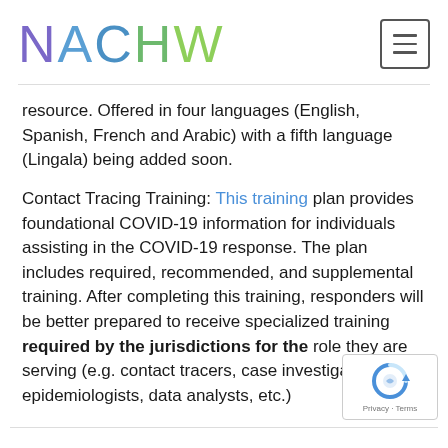NACHW
resource. Offered in four languages (English, Spanish, French and Arabic) with a fifth language (Lingala) being added soon.
Contact Tracing Training: This training plan provides foundational COVID-19 information for individuals assisting in the COVID-19 response. The plan includes required, recommended, and supplemental training. After completing this training, responders will be better prepared to receive specialized training required by the jurisdictions for the role they are serving (e.g. contact tracers, case investigators, epidemiologists, data analysts, etc.)